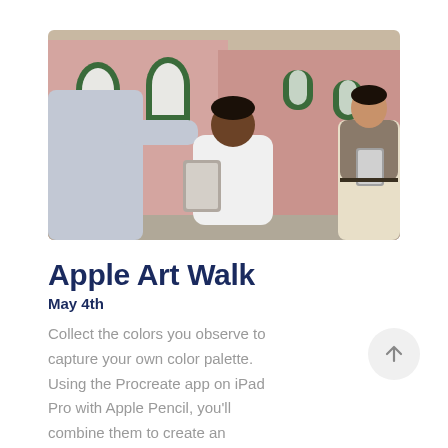[Figure (photo): Outdoor street scene with pink colonial buildings and green shuttered windows. A man in a white t-shirt crouches holding an iPad, a woman in the background holds a tablet, and a person's arm extends on the left pointing at a building.]
Apple Art Walk
May 4th
Collect the colors you observe to capture your own color palette. Using the Procreate app on iPad Pro with Apple Pencil, you'll combine them to create an